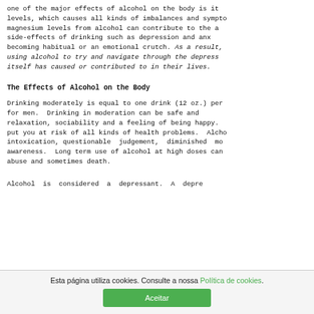one of the major effects of alcohol on the body is it levels, which causes all kinds of imbalances and sympto magnesium levels from alcohol can contribute to the a side-effects of drinking such as depression and anx becoming habitual or an emotional crutch. As a result, using alcohol to try and navigate through the depress itself has caused or contributed to in their lives.
The Effects of Alcohol on the Body
Drinking moderately is equal to one drink (12 oz.) per for men. Drinking in moderation can be safe and relaxation, sociability and a feeling of being happy. put you at risk of all kinds of health problems. Alcho intoxication, questionable judgement, diminished mo awareness. Long term use of alcohol at high doses can abuse and sometimes death.
Alcohol is considered a depressant. A depre